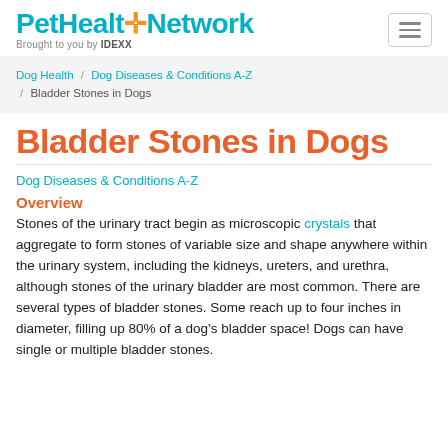PetHealthNetwork — Brought to you by IDEXX
Dog Health / Dog Diseases & Conditions A-Z / Bladder Stones in Dogs
Bladder Stones in Dogs
Dog Diseases & Conditions A-Z
Overview
Stones of the urinary tract begin as microscopic crystals that aggregate to form stones of variable size and shape anywhere within the urinary system, including the kidneys, ureters, and urethra, although stones of the urinary bladder are most common. There are several types of bladder stones. Some reach up to four inches in diameter, filling up 80% of a dog's bladder space! Dogs can have single or multiple bladder stones.